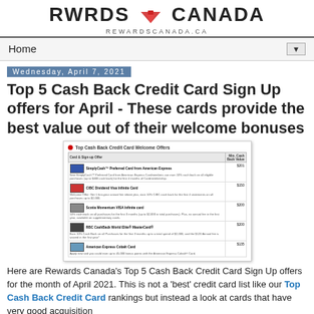RWRDS CANADA rewardscanada.ca
Home ▼
Wednesday, April 7, 2021
Top 5 Cash Back Credit Card Sign Up offers for April - These cards provide the best value out of their welcome bonuses
[Figure (table-as-image): Table showing Top Cash Back Credit Card Welcome Offers with columns for Card & Sign-up Offer and Min. Cash Back Value. Rows include: SimplyCash Preferred Card from American Express, CIBC Dividend Visa Infinite Card, Scotia Momentum VISA Infinite card, RBC Cashback World Elite Mastercard, American Express Cobalt Card.]
Here are Rewards Canada's Top 5 Cash Back Credit Card Sign Up offers for the month of April 2021. This is not a 'best' credit card list like our Top Cash Back Credit Card rankings but instead a look at cards that have very good acquisition